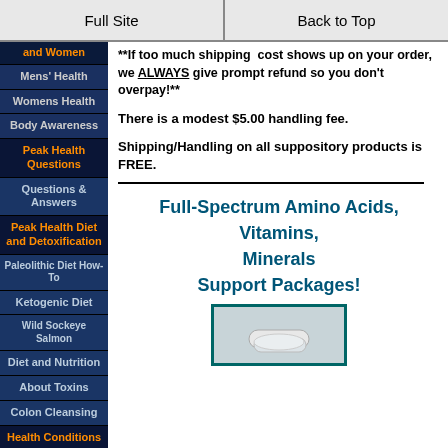Full Site | Back to Top
and Women
Mens' Health
Womens Health
Body Awareness
Peak Health Questions
Questions & Answers
Peak Health Diet and Detoxification
Paleolithic Diet How-To
Ketogenic Diet
Wild Sockeye Salmon
Diet and Nutrition
About Toxins
Colon Cleansing
Health Conditions
Addiction Recovery
Anxiety and Panic
**If too much shipping cost shows up on your order, we ALWAYS give prompt refund so you don't overpay!**
There is a modest $5.00 handling fee.
Shipping/Handling on all suppository products is FREE.
Full-Spectrum Amino Acids, Vitamins, Minerals Support Packages!
[Figure (photo): Photo of supplement product in teal-bordered box]